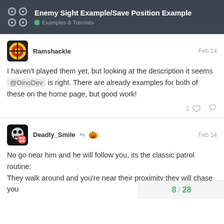Enemy Sight Example/Save Position Example — Examples & Tutorials
Ramshackle  Feb 14
I haven't played them yet, but looking at the description it seems @DinoDev is right. There are already examples for both of these on the home page, but good work!
Deadly_Smile  Feb 14
No go near him and he will follow you, its the classic patrol routine:
They walk around and you're near their proximity they will chase you
8 / 28